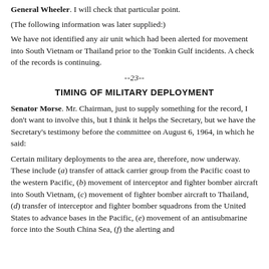General Wheeler. I will check that particular point.
(The following information was later supplied:)
We have not identified any air unit which had been alerted for movement into South Vietnam or Thailand prior to the Tonkin Gulf incidents. A check of the records is continuing.
--23--
TIMING OF MILITARY DEPLOYMENT
Senator Morse. Mr. Chairman, just to supply something for the record, I don't want to involve this, but I think it helps the Secretary, but we have the Secretary's testimony before the committee on August 6, 1964, in which he said:
Certain military deployments to the area are, therefore, now underway. These include (a) transfer of attack carrier group from the Pacific coast to the western Pacific, (b) movement of interceptor and fighter bomber aircraft into South Vietnam, (c) movement of fighter bomber aircraft to Thailand, (d) transfer of interceptor and fighter bomber squadrons from the United States to advance bases in the Pacific, (e) movement of an antisubmarine force into the South China Sea, (f) the alerting and